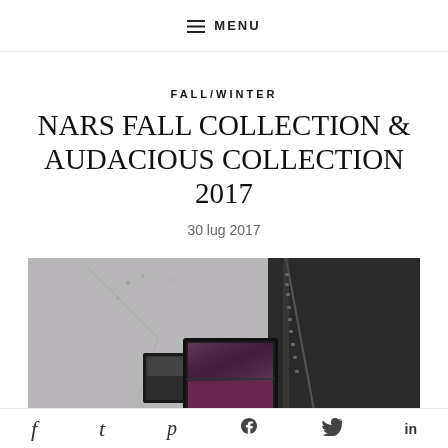≡ MENU
FALL/WINTER
NARS FALL COLLECTION & AUDACIOUS COLLECTION 2017
30 lug 2017
[Figure (photo): Black and white photo of NARS makeup compacts (eyeshadow palettes) with a mirror compact, arranged near a black leather bag with zipper, on a textured grey concrete surface.]
f  t  p  twitter  in